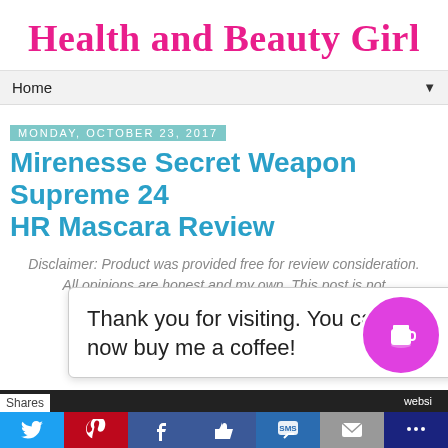Health and Beauty Girl
Home
Monday, October 23, 2017
Mirenesse Secret Weapon Supreme 24 HR Mascara Review
Disclaimer: Product was provided free for review consideration. All opinions are honest and my own. This post is not sponsored.
Thank you for visiting. You can now buy me a coffee!
Shares